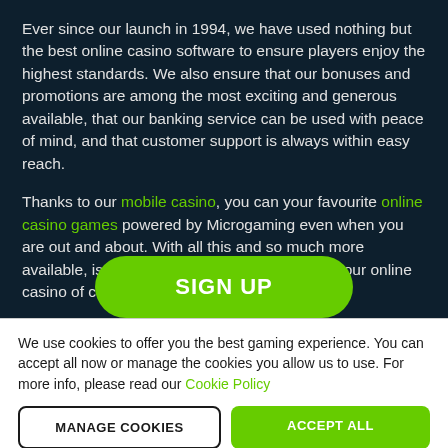Ever since our launch in 1994, we have used nothing but the best online casino software to ensure players enjoy the highest standards. We also ensure that our bonuses and promotions are among the most exciting and generous available, that our banking service can be used with peace of mind, and that customer support is always within easy reach.
Thanks to our mobile casino, you can your favourite online casino games powered by Microgaming even when you are out and about. With all this and so much more available, isn't it time you made Gaming Club your online casino of choice?
[Figure (other): Green rounded SIGN UP button]
We use cookies to offer you the best gaming experience. You can accept all now or manage the cookies you allow us to use. For more info, please read our Cookie Policy
[Figure (other): Two buttons: MANAGE COOKIES (outlined) and ACCEPT ALL (green)]